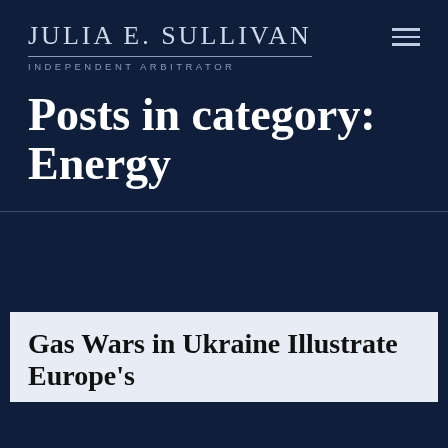Julia E. Sullivan — Independent Arbitrator
Posts in category: Energy
Gas Wars in Ukraine Illustrate Europe's